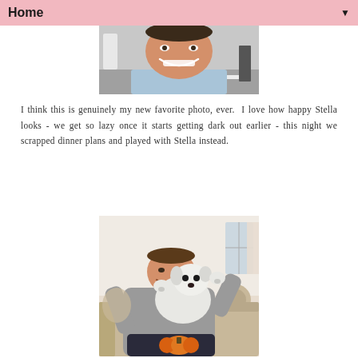Home ▼
[Figure (photo): Close-up photo of a smiling man in a light blue shirt, taken outdoors on a grey surface with people in the background]
I think this is genuinely my new favorite photo, ever.  I love how happy Stella looks - we get so lazy once it starts getting dark out earlier - this night we scrapped dinner plans and played with Stella instead.
[Figure (photo): A man in a grey sweater sitting on a couch holding up a small white fluffy dog (Stella), with an orange pumpkin toy in the foreground and decorative pillows in the background]